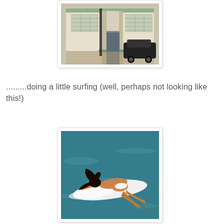[Figure (photo): Photo of a building facade with Art Deco style architecture, green and white tiled entrance, columns, and a black sports car parked in front]
.........doing a little surfing (well, perhaps not looking like this!)
[Figure (photo): Photo of a woman in a white bikini lying on a white surfboard paddling through turquoise ocean water, with dark hair spread out]